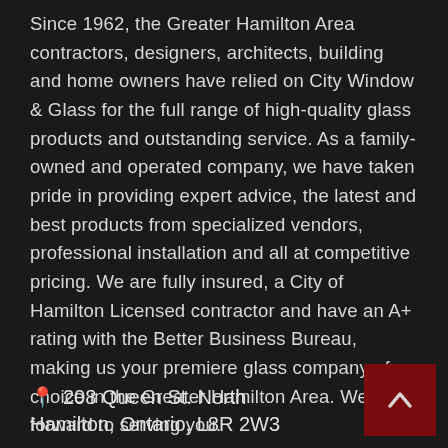Since 1962, the Greater Hamilton Area contractors, designers, architects, building and home owners have relied on City Window & Glass for the full range of high-quality glass products and outstanding service. As a family-owned and operated company, we have taken pride in providing expert advice, the latest and best products from specialized vendors, professional installation and all at competitive pricing. We are fully insured, a City of Hamilton Licensed contractor and have an A+ rating with the Better Business Bureau, making us your premiere glass company of choice in the Greater Hamilton Area. We look forward to serving you.
208 Queen St. North Hamilton, Ontario, L8R 2W3